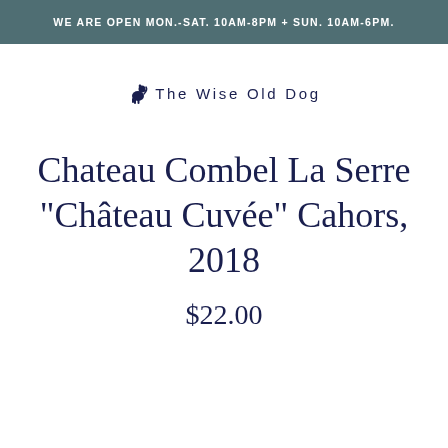WE ARE OPEN MON.-SAT. 10AM-8PM + SUN. 10AM-6PM.
[Figure (logo): The Wise Old Dog logo with a small dog icon and text 'The Wise Old Dog']
Chateau Combel La Serre "Château Cuvée" Cahors, 2018
$22.00